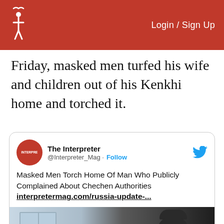Login / Sign Up
Friday, masked men turfed his wife and children out of his Kenkhi home and torched it.
[Figure (screenshot): Tweet card from @Interpreter_Mag (The Interpreter) with text: 'Masked Men Torch Home Of Man Who Publicly Complained About Chechen Authorities interpretermag.com/russia-update-...' and a photo of an elderly man in a dark cap seated indoors.]